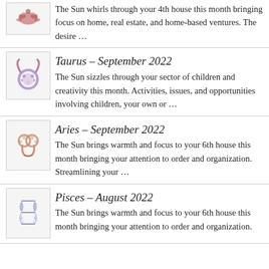The Sun whirls through your 4th house this month bringing focus on home, real estate, and home-based ventures. The desire …
Taurus – September 2022
The Sun sizzles through your sector of children and creativity this month.  Activities, issues, and opportunities involving children, your own or …
Aries – September 2022
The Sun brings warmth and focus to your 6th house this month bringing your attention to order and organization. Streamlining your …
Pisces – August 2022
The Sun brings warmth and focus to your 6th house this month bringing your attention to order and organization.